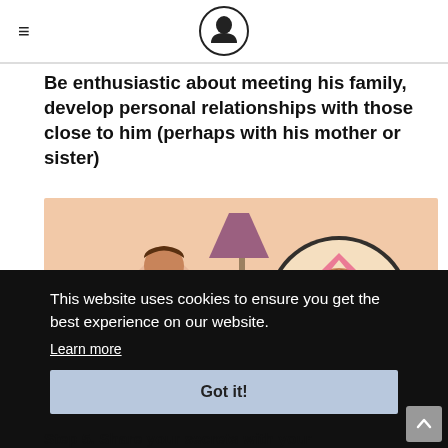[hamburger menu icon] [logo: person reading icon]
Be enthusiastic about meeting his family, develop personal relationships with those close to him (perhaps with his mother or sister)
[Figure (illustration): Illustration of two animated characters in a warm embrace, with a lamp and cozy room background. Circular inset shows a close-up of one character's face with a blush.]
This website uses cookies to ensure you get the best experience on our website.
Learn more
Got it!
Step 5. Share your secrets with your